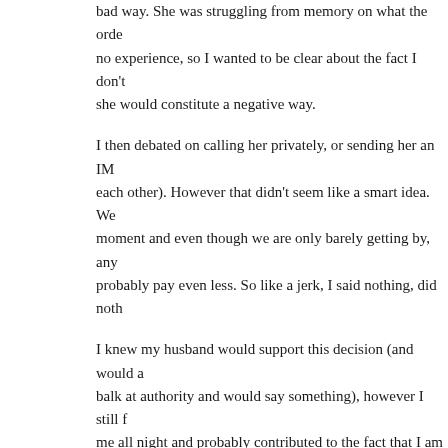bad way. She was struggling from memory on what the order was and had no experience, so I wanted to be clear about the fact I don't know if what she would constitute a negative way.
I then debated on calling her privately, or sending her an IM (we know each other). However that didn't seem like a smart idea. We are making it at the moment and even though we are only barely getting by, any change would probably pay even less. So like a jerk, I said nothing, did nothing.
I knew my husband would support this decision (and would actually balk at authority and would say something), however I still felt guilty. It kept me all night and probably contributed to the fact that I am where I am going to be today.
Share this:
[Figure (other): Twitter and Facebook share buttons]
[Figure (other): Like button and user avatars]